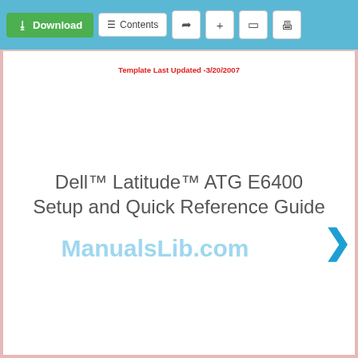Download | Contents | (share) | + | bookmark | print
Template Last Updated -3/20/2007
Dell™ Latitude™ ATG E6400 Setup and Quick Reference Guide
ManualsLib.com